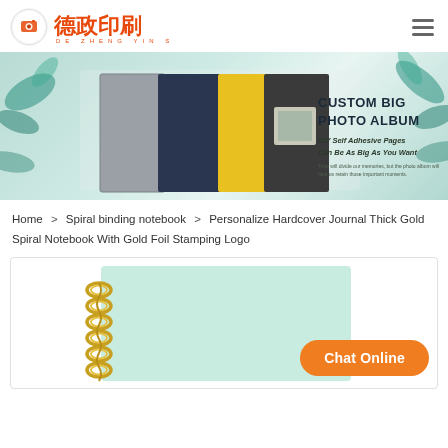[Figure (logo): Dezheng printing company logo with orange Chinese characters and circular icon]
[Figure (photo): Banner advertising custom big photo albums with DIY self adhesive pages, showing multiple photo albums in grey, navy, yellow colors]
Home > Spiral binding notebook > Personalize Hardcover Journal Thick Gold Spiral Notebook With Gold Foil Stamping Logo
[Figure (photo): Product image of a spiral bound notebook with mint green cover and gold spiral binding, partially visible]
Chat Online